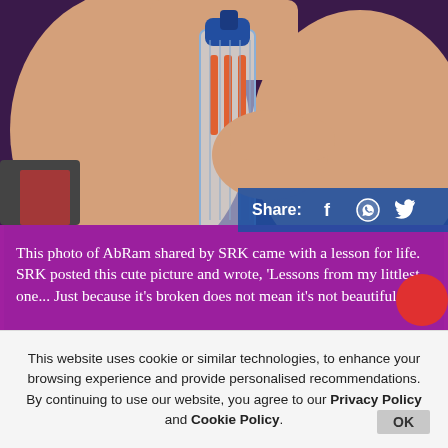[Figure (photo): Shirtless child holding a transparent blue and clear plastic toy gun with orange darts visible inside, against a dark/purple background]
Share: f [WhatsApp] [Twitter]
This photo of AbRam shared by SRK came with a lesson for life. SRK posted this cute picture and wrote, 'Lessons from my littlest one... Just because it's broken does not mean it's not beautiful....'
This website uses cookie or similar technologies, to enhance your browsing experience and provide personalised recommendations. By continuing to use our website, you agree to our Privacy Policy and Cookie Policy.